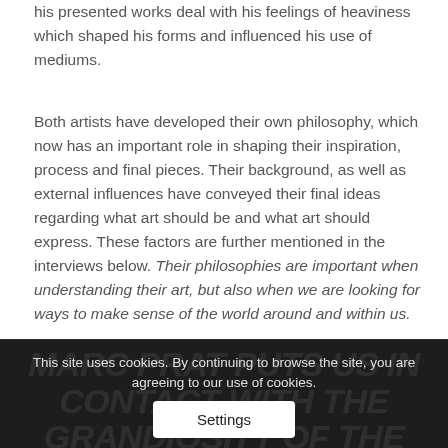his presented works deal with his feelings of heaviness which shaped his forms and influenced his use of mediums.
Both artists have developed their own philosophy, which now has an important role in shaping their inspiration, process and final pieces. Their background, as well as external influences have conveyed their final ideas regarding what art should be and what art should express. These factors are further mentioned in the interviews below. Their philosophies are important when understanding their art, but also when we are looking for ways to make sense of the world around and within us.
MARC PRAT PUTS US IN CONTACT WITH THE GRANDIOSITY OF THE ANIMALS. MARTIN BLOECHER PUTS US IN CONTACT WITH THE
This site uses cookies. By continuing to browse the site, you are agreeing to our use of cookies.
Settings